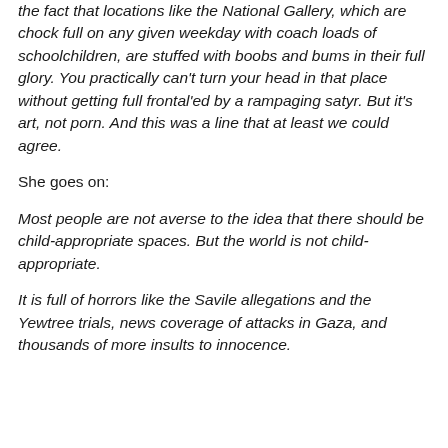the fact that locations like the National Gallery, which are chock full on any given weekday with coach loads of schoolchildren, are stuffed with boobs and bums in their full glory. You practically can't turn your head in that place without getting full frontal'ed by a rampaging satyr. But it's art, not porn. And this was a line that at least we could agree.
She goes on:
Most people are not averse to the idea that there should be child-appropriate spaces. But the world is not child-appropriate.
It is full of horrors like the Savile allegations and the Yewtree trials, news coverage of attacks in Gaza, and thousands of more insults to innocence.